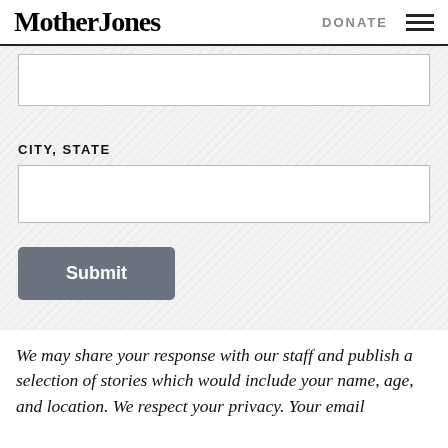Mother Jones | DONATE
[Figure (screenshot): Web form with a text input field (top, partially visible), a CITY, STATE label, a second text input field, and a Submit button, all on a hatched/diagonal striped background]
We may share your response with our staff and publish a selection of stories which would include your name, age, and location. We respect your privacy. Your email